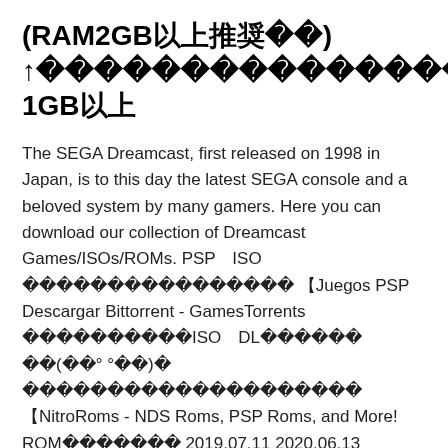(RAM2GB以上推奨) ↑詳細はダウンロードページで 1GB以上
The SEGA Dreamcast, first released on 1998 in Japan, is to this day the latest SEGA console and a beloved system by many gamers. Here you can download our collection of Dreamcast Games/ISOs/ROMs. PSP ISO ダウンロード無料ゲーム一覧 【Juegos PSP Descargar Bittorrent - GamesTorrents ゲームリストのISOをDL紹介します (ﾟ° °ﾟ)ﾉ ゲームの無料ダウンロードリスト一覧 【NitroRoms - NDS Roms, PSP Roms, and More! ROM更新情報 2019.07.11 2020.06.13 aramodo12. PS3・PS Vita・Wiiなど ROM・ISO などの無料ダウンロードサイト 【Nitroblogゲームの無料ダウンロードリスト一覧】 PPSSPP 1.10 is finally here. Not to be confused with 1.1! 10 major releases since 1.0, that's quite something. Thanks to everybody who has helped and made this possible. PPSSPP 1.10.1 additionally fixes a few commonly seen crashes. 1.10.2 fixes some camera-related crashes, and fixes